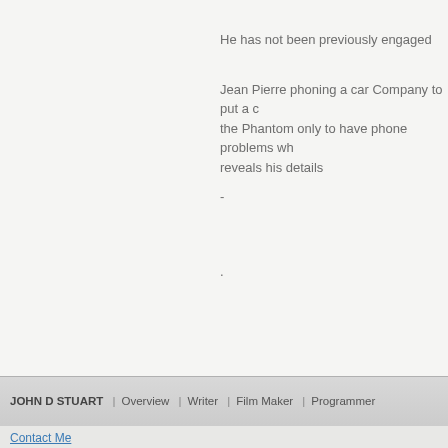He has not been previously engaged
Jean Pierre phoning a car Company to put a c the Phantom only to have phone problems wh reveals his details
-
.
JOHN D STUART  |  Overview  |  Writer  |  Film Maker  |  Programmer
Contact Me